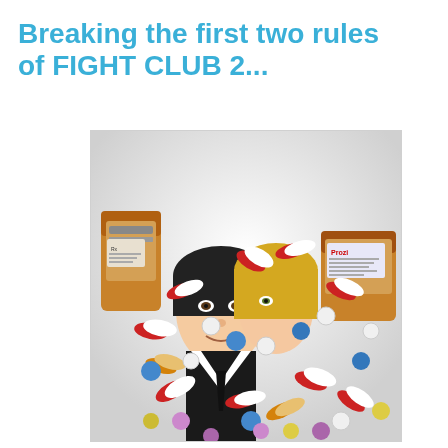Breaking the first two rules of FIGHT CLUB 2...
[Figure (illustration): Comic book style illustration showing two characters (a dark-haired man and a blonde woman) surrounded by many pills, capsules, and prescription pill bottles. The bottles are labeled with text including 'Prozi'. Pills are red and white capsules, blue round tablets, white round pills, and multicolored tablets scattered around the figures. The background is light grey/white.]